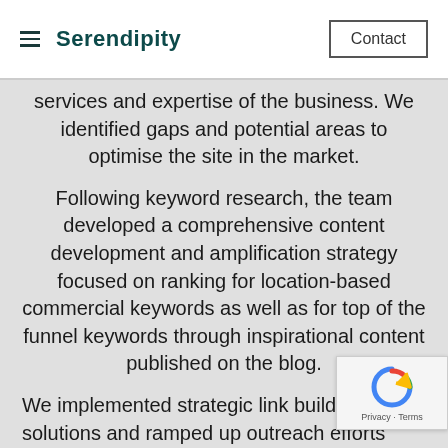Serendipity | Contact
services and expertise of the business. We identified gaps and potential areas to optimise the site in the market.
Following keyword research, the team developed a comprehensive content development and amplification strategy focused on ranking for location-based commercial keywords as well as for top of the funnel keywords through inspirational content published on the blog.
We implemented strategic link building solutions and ramped up outreach efforts considerably. Increasing the site's total amount of links considerably from the start of our engagement to raise the overall authority of the site as well as traffic to the website.